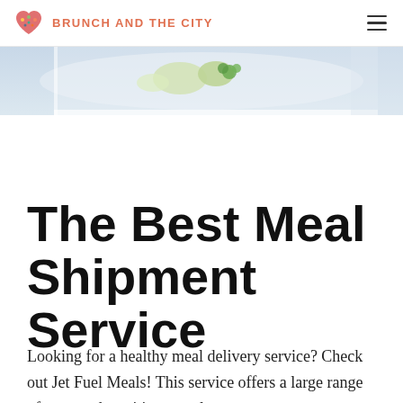BRUNCH AND THE CITY
[Figure (photo): Partial view of a food plate with vegetables from above, light blue/white background, cropped at the top]
The Best Meal Shipment Service
Looking for a healthy meal delivery service? Check out Jet Fuel Meals! This service offers a large range of tasty and nutritious meals.